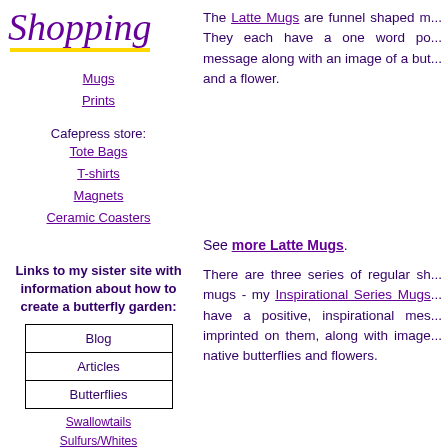[Figure (logo): Shopping logo in purple cursive script with yellow underline]
Mugs
Prints
Cafepress store:
Tote Bags
T-shirts
Magnets
Ceramic Coasters
The Latte Mugs are funnel shaped m... They each have a one word po... message along with an image of a but... and a flower.
Links to my sister site with information about how to create a butterfly garden:
| Blog |
| Articles |
| Butterflies |
Swallowtails
Sulfurs/Whites
Brushfooted
See more Latte Mugs.
There are three series of regular sh... mugs - my Inspirational Series Mugs... have a positive, inspirational mes... imprinted on them, along with image... native butterflies and flowers.